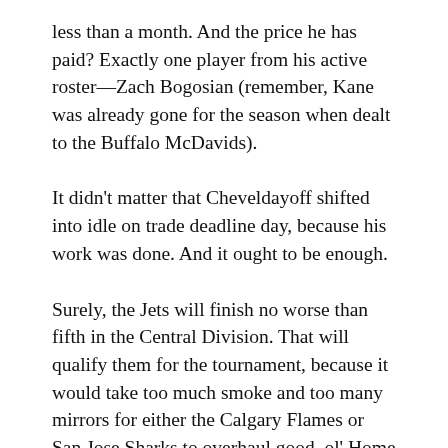less than a month. And the price he has paid? Exactly one player from his active roster—Zach Bogosian (remember, Kane was already gone for the season when dealt to the Buffalo McDavids).
It didn't matter that Cheveldayoff shifted into idle on trade deadline day, because his work was done. And it ought to be enough.
Surely, the Jets will finish no worse than fifth in the Central Division. That will qualify them for the tournament, because it would take too much smoke and too many mirrors for either the Calgary Flames or San Jose Sharks to overhaul good, ol' Home Team for a Western